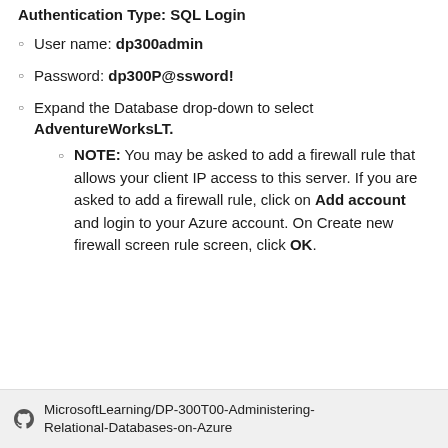User name: dp300admin
Password: dp300P@ssword!
Expand the Database drop-down to select AdventureWorksLT.
NOTE: You may be asked to add a firewall rule that allows your client IP access to this server. If you are asked to add a firewall rule, click on Add account and login to your Azure account. On Create new firewall screen rule screen, click OK.
MicrosoftLearning/DP-300T00-Administering-Relational-Databases-on-Azure